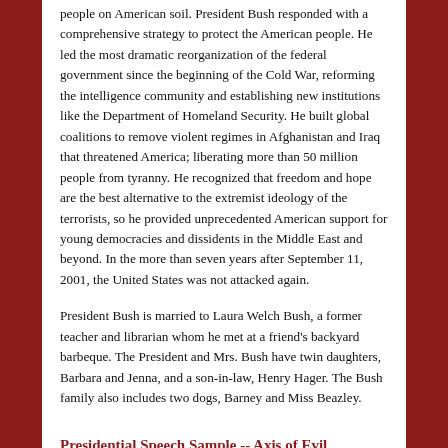people on American soil. President Bush responded with a comprehensive strategy to protect the American people. He led the most dramatic reorganization of the federal government since the beginning of the Cold War, reforming the intelligence community and establishing new institutions like the Department of Homeland Security. He built global coalitions to remove violent regimes in Afghanistan and Iraq that threatened America; liberating more than 50 million people from tyranny. He recognized that freedom and hope are the best alternative to the extremist ideology of the terrorists, so he provided unprecedented American support for young democracies and dissidents in the Middle East and beyond. In the more than seven years after September 11, 2001, the United States was not attacked again.
President Bush is married to Laura Welch Bush, a former teacher and librarian whom he met at a friend's backyard barbeque. The President and Mrs. Bush have twin daughters, Barbara and Jenna, and a son-in-law, Henry Hager. The Bush family also includes two dogs, Barney and Miss Beazley.
Presidential Speech Sample -- Axis of Evil